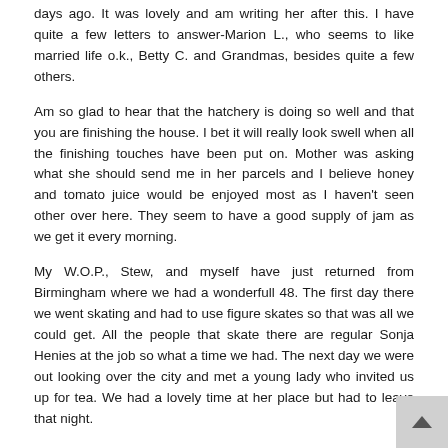days ago. It was lovely and am writing her after this. I have quite a few letters to answer-Marion L., who seems to like married life o.k., Betty C. and Grandmas, besides quite a few others.
Am so glad to hear that the hatchery is doing so well and that you are finishing the house. I bet it will really look swell when all the finishing touches have been put on. Mother was asking what she should send me in her parcels and I believe honey and tomato juice would be enjoyed most as I haven't seen other over here. They seem to have a good supply of jam as we get it every morning.
My W.O.P., Stew, and myself have just returned from Birmingham where we had a wonderfull 48. The first day there we went skating and had to use figure skates so that was all we could get. All the people that skate there are regular Sonja Henies at the job so what a time we had. The next day we were out looking over the city and met a young lady who invited us up for tea. We had a lovely time at her place but had to leave that night.
We are night flying now and we like it very much as we get special rations - a chocolate and gum ration before going up on the flys but the payoff comes when we return when we get bacon, an egg, and chips and of course tea, which really hits the spot. I'm busy with the sextant